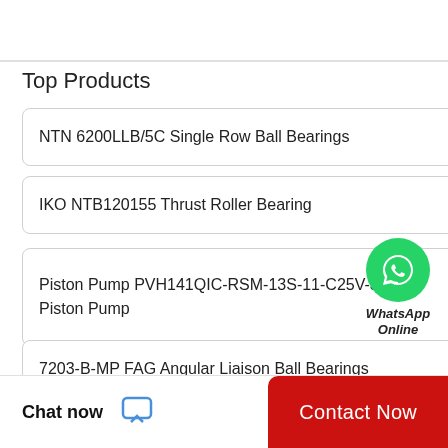Top Products
NTN 6200LLB/5C Single Row Ball Bearings
IKO NTB120155 Thrust Roller Bearing
Piston Pump PVH141QIC-RSM-13S-11-C25V-31 Piston Pump
7203-B-MP FAG Angular Liaison Ball Bearings
Timken lm11749 Bearing
[Figure (logo): WhatsApp Online green circle chat bubble with phone icon and text 'WhatsApp Online']
Chat now
Contact Now